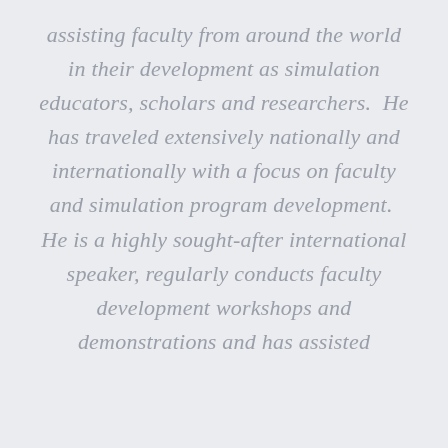assisting faculty from around the world in their development as simulation educators, scholars and researchers.  He has traveled extensively nationally and internationally with a focus on faculty and simulation program development.  He is a highly sought-after international speaker, regularly conducts faculty development workshops and demonstrations and has assisted